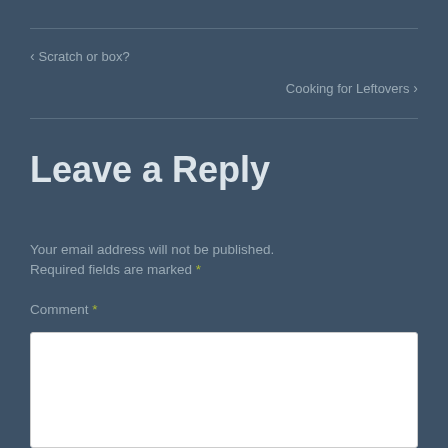‹ Scratch or box?
Cooking for Leftovers ›
Leave a Reply
Your email address will not be published. Required fields are marked *
Comment *